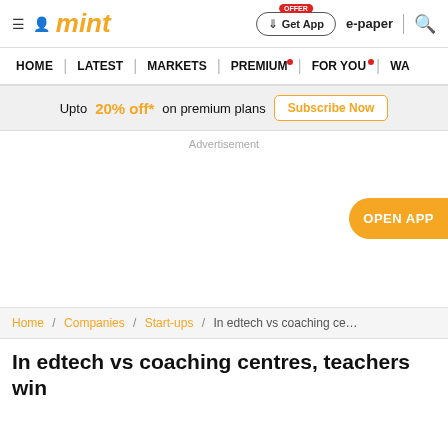mint | Get App | e-paper
HOME | LATEST | MARKETS | PREMIUM | FOR YOU | WA...
Upto 20% off* on premium plans Subscribe Now
Advertisement
OPEN APP
Home / Companies / Start-ups / In edtech vs coaching ce...
In edtech vs coaching centres, teachers win